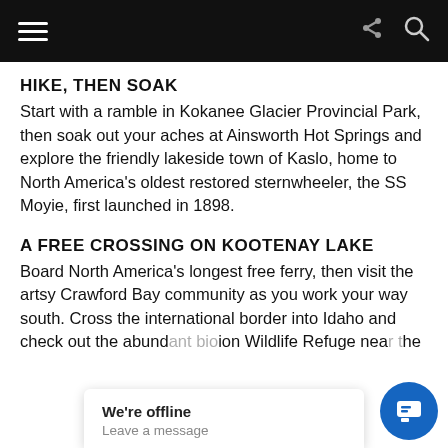HIKE, THEN SOAK
Start with a ramble in Kokanee Glacier Provincial Park, then soak out your aches at Ainsworth Hot Springs and explore the friendly lakeside town of Kaslo, home to North America's oldest restored sternwheeler, the SS Moyie, first launched in 1898.
A FREE CROSSING ON KOOTENAY LAKE
Board North America's longest free ferry, then visit the artsy Crawford Bay community as you work your way south. Cross the international border into Idaho and check out the abund[ant] [bird]io[n] Wildlife Refuge nea[r] [t]he [small] [town]s of [Id...